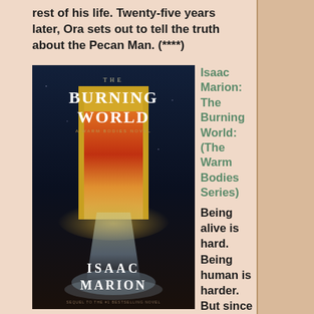rest of his life. Twenty-five years later, Ora sets out to tell the truth about the Pecan Man. (****)
[Figure (photo): Book cover of 'The Burning World: A Warm Bodies Novel' by Isaac Marion. Dark blue/black background with golden door frame and fiery/glowing inner scene.]
Isaac Marion: The Burning World: (The Warm Bodies Series)
Being alive is hard. Being human is harder. But since his recent recovery from death, R is making progress. He's learning how to read, how to speak, maybe even how to love, and the city's undead population is showing signs of life. R can almost imagine a future with Julie, this girl who restarted his heart—building a new world from the ashes of the old one. And then the helicopters appear. I confess that I read this love/horror story out of curiosity. I usually don't go in for zombies. I heard Donald T. said this book was supposed to be about him, and I had